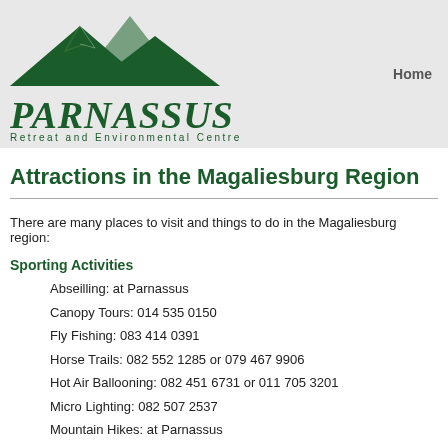[Figure (logo): Parnassus Retreat and Environmental Centre logo with green mountain silhouettes and text]
Home
Attractions in the Magaliesburg Region
There are many places to visit and things to do in the Magaliesburg region:
Sporting Activities
Abseilling: at Parnassus
Canopy Tours: 014 535 0150
Fly Fishing: 083 414 0391
Horse Trails: 082 552 1285 or 079 467 9906
Hot Air Ballooning: 082 451 6731 or 011 705 3201
Micro Lighting: 082 507 2537
Mountain Hikes: at Parnassus
Paintball: at Parnassus
Quad Biking: 082 552 1285 or 082 412 9823
River Rafting: 083 252 2570